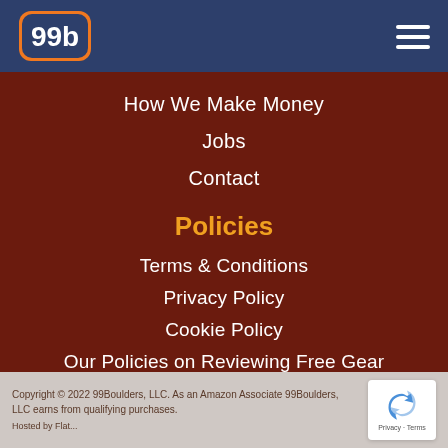99b logo and navigation menu
How We Make Money
Jobs
Contact
Policies
Terms & Conditions
Privacy Policy
Cookie Policy
Our Policies on Reviewing Free Gear
Copyright © 2022 99Boulders, LLC. As an Amazon Associate 99Boulders, LLC earns from qualifying purchases.